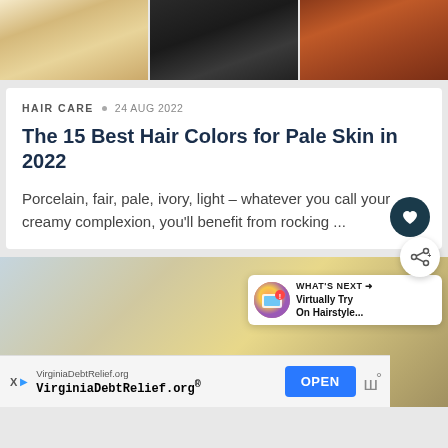[Figure (photo): Three hair color photos side by side: blonde updo, dark hair, auburn/red wavy hair]
HAIR CARE  ■  24 AUG 2022
The 15 Best Hair Colors for Pale Skin in 2022
Porcelain, fair, pale, ivory, light – whatever you call your creamy complexion, you'll benefit from rocking ...
[Figure (photo): Back view of a woman with blonde wavy hair at a salon]
WHAT'S NEXT → Virtually Try On Hairstyle...
VirginiaDebtRelief.org VirginiaDebtRelief.org® OPEN